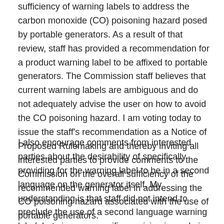sufficiency of warning labels to address the carbon monoxide (CO) poisoning hazard posed by portable generators. As a result of that review, staff has provided a recommendation for a product warning label to be affixed to portable generators. The Commission staff believes that current warning labels are ambiguous and do not adequately advise the user on how to avoid the CO poisoning hazard. I am voting today to issue the staff's recommendation as a Notice of Proposed Rulemaking and thereby inviting all interested parties to provide comments to the Commission on the overall sufficiency of the recommended warning label in addressing the CO poisoning hazard associated with the use of portable generators.
I also encourage comments from interested parties about the desirability of specifically providing for the warning label to be in a second language on the generator itself. My understanding is that staff did not intend to preclude the use of a second language warning label, but since no specific provision is made in the proposed rule for such a label on the